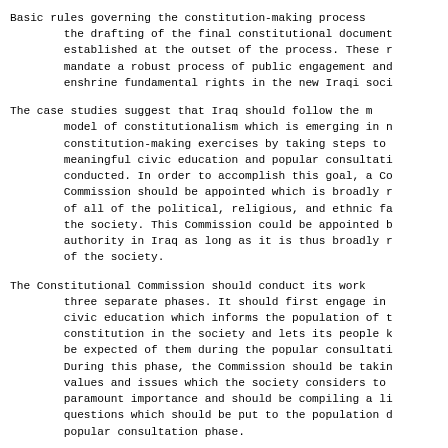Basic rules governing the constitution-making process the drafting of the final constitutional document established at the outset of the process. These mandate a robust process of public engagement and enshrine fundamental rights in the new Iraqi society.
The case studies suggest that Iraq should follow the model of constitutionalism which is emerging in constitution-making exercises by taking steps to meaningful civic education and popular consultation conducted. In order to accomplish this goal, a Constitutional Commission should be appointed which is broadly representative of all of the political, religious, and ethnic factions in the society. This Commission could be appointed by whatever authority in Iraq as long as it is thus broadly representative of the society.
The Constitutional Commission should conduct its work in three separate phases. It should first engage in civic education which informs the population of the constitution in the society and lets its people know what will be expected of them during the popular consultation phase. During this phase, the Commission should be taking note of values and issues which the society considers to be of paramount importance and should be compiling a list of questions which should be put to the population during the popular consultation phase.
In the second phase, the Commission should conduct consultations based upon specific questions, and